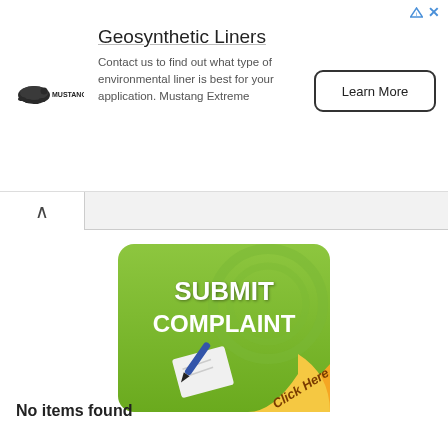[Figure (infographic): Advertisement banner for Geosynthetic Liners by Mustang Extreme. Shows logo (turtle/animal icon), title 'Geosynthetic Liners', body text 'Contact us to find out what type of environmental liner is best for your application. Mustang Extreme', and a 'Learn More' button. Small ad attribution icons in top-right corner.]
[Figure (screenshot): A green button/banner graphic with white bold text 'SUBMIT COMPLAINT' and a pen-on-paper icon. Bottom-right corner has a yellow/gold curved area with italic text 'Click Here'.]
No items found